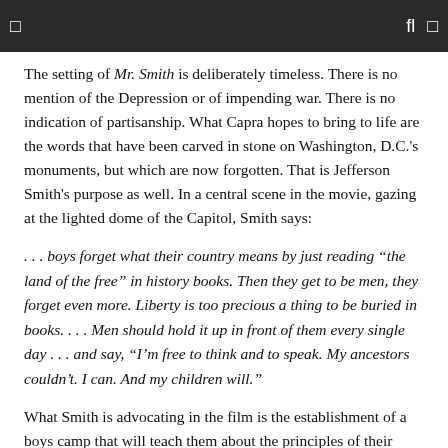The setting of Mr. Smith is deliberately timeless. There is no mention of the Depression or of impending war. There is no indication of partisanship. What Capra hopes to bring to life are the words that have been carved in stone on Washington, D.C.'s monuments, but which are now forgotten. That is Jefferson Smith's purpose as well. In a central scene in the movie, gazing at the lighted dome of the Capitol, Smith says:
. . . boys forget what their country means by just reading "the land of the free" in history books. Then they get to be men, they forget even more. Liberty is too precious a thing to be buried in books. . . . Men should hold it up in front of them every single day . . . and say, "I'm free to think and to speak. My ancestors couldn't. I can. And my children will."
What Smith is advocating in the film is the establishment of a boys camp that will teach them about the principles of their country. Moreover, it is not to be paid for by the taxpayers, but with a loan from the government to be paid for by the boys